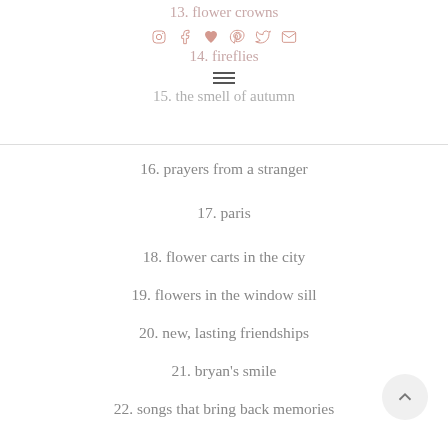13. flower crowns
[Figure (infographic): Social media icons: Instagram, Facebook, heart/Bloglovin, Pinterest, Twitter, email]
14. fireflies
[Figure (infographic): Hamburger menu icon (three horizontal lines)]
15. the smell of autumn
16. prayers from a stranger
17. paris
18. flower carts in the city
19. flowers in the window sill
20. new, lasting friendships
21. bryan's smile
22. songs that bring back memories